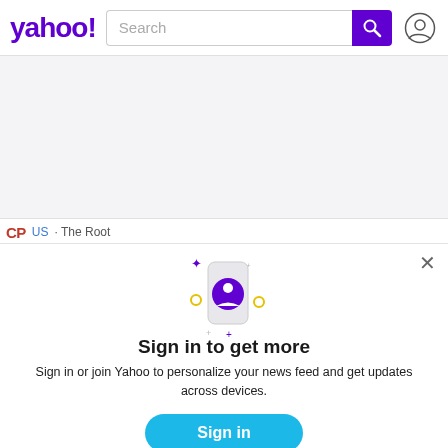yahoo! Search
[Figure (screenshot): Partial Yahoo news feed background]
[Figure (illustration): Phone with user account icon and sparkle decorations]
Sign in to get more
Sign in or join Yahoo to personalize your news feed and get updates across devices.
Sign in
Sign up